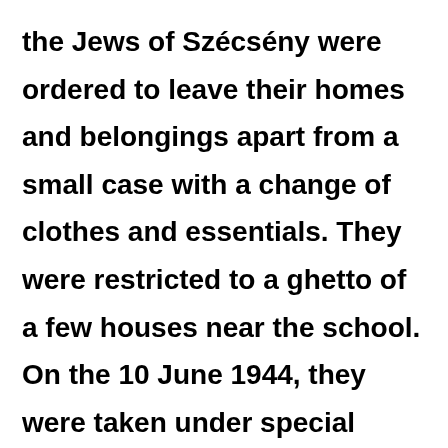the Jews of Szécsény were ordered to leave their homes and belongings apart from a small case with a change of clothes and essentials. They were restricted to a ghetto of a few houses near the school. On the 10 June 1944, they were taken under special forces' escort to the county town of Balassagyarmat, some 20 km away. There